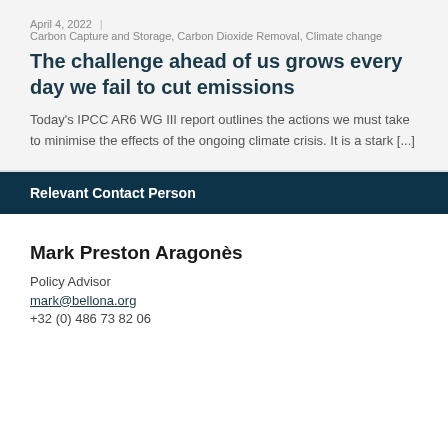April 4, 2022 | Carbon Capture and Storage, Carbon Dioxide Removal, Climate change
The challenge ahead of us grows every day we fail to cut emissions
Today's IPCC AR6 WG III report outlines the actions we must take to minimise the effects of the ongoing climate crisis. It is a stark [...]
Relevant Contact Person
Mark Preston Aragonès
Policy Advisor
mark@bellona.org
+32 (0) 486 73 82 06